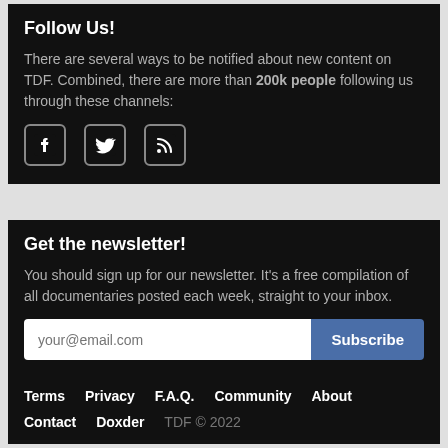Follow Us!
There are several ways to be notified about new content on TDF. Combined, there are more than 200k people following us through these channels:
[Figure (illustration): Three social media icons: Facebook, Twitter, and RSS feed]
Get the newsletter!
You should sign up for our newsletter. It's a free compilation of all documentaries posted each week, straight to your inbox.
your@email.com [input] Subscribe [button]
Terms  Privacy  F.A.Q.  Community  About  Contact  Doxder  TDF © 2022